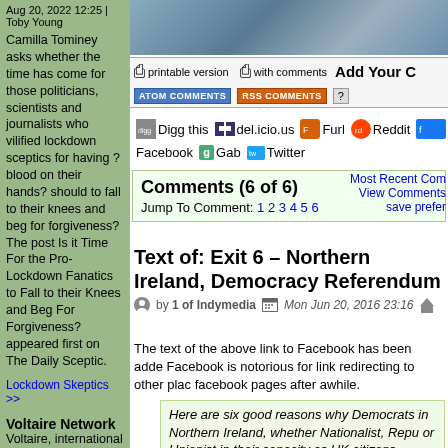Aug 20, 2022 12:25 | Toby Young Camilla Tominey asks whether the time has come for those politicians, scientists and journalists who vilified lockdown sceptics for having ?blood on their hands? should to fall to their knees and beg for forgiveness? The post Is it Time For the Pro-Lockdown Fanatics to Fall to their Knees and Beg For Forgiveness? appeared first on The Daily Sceptic.
Lockdown Skeptics >>
Voltaire Network
Voltaire, international edition
Frontex
[Figure (photo): City skyline photo strip at top of right column]
printable version   with comments   Add Your C
ATOM COMMENTS   RSS COMMENTS   ?
Digg this   del.icio.us   Furl   Reddit   Facebook   Gab   Twitter
Comments (6 of 6)
Jump To Comment: 1 2 3 4 5 6
Most Recent Com
View Comments
save prefer
Text of: Exit 6 – Northern Ireland, Democracy Referendum
by 1 of Indymedia   Mon Jun 20, 2016 23:16
The text of the above link to Facebook has been adde Facebook is notorious for link redirecting to other plac facebook pages after awhile.
Here are six good reasons why Democrats in Northern Ireland, whether Nationalist, Repu or Unionist in their capacity as UK citizens...